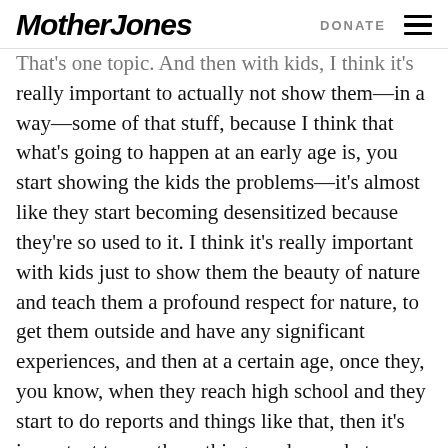Mother Jones  DONATE
That's one topic. And then with kids, I think it's really important to actually not show them—in a way—some of that stuff, because I think that what's going to happen at an early age is, you start showing the kids the problems—it's almost like they start becoming desensitized because they're so used to it. I think it's really important with kids just to show them the beauty of nature and teach them a profound respect for nature, to get them outside and have any significant experiences, and then at a certain age, once they, you know, when they reach high school and they start to do reports and things like that, then it's important to see these things and see what humans—what our effects are on these natural beauty